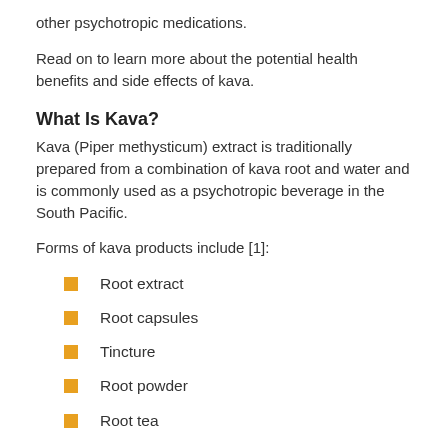other psychotropic medications.
Read on to learn more about the potential health benefits and side effects of kava.
What Is Kava?
Kava (Piper methysticum) extract is traditionally prepared from a combination of kava root and water and is commonly used as a psychotropic beverage in the South Pacific.
Forms of kava products include [1]:
Root extract
Root capsules
Tincture
Root powder
Root tea
Concentrate paste